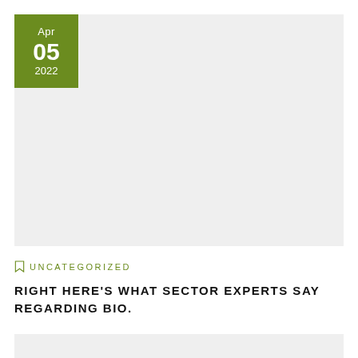[Figure (photo): Gray placeholder image area with a green date badge in top-left corner showing Apr 05 2022]
UNCATEGORIZED
RIGHT HERE'S WHAT SECTOR EXPERTS SAY REGARDING BIO.
[Figure (photo): Partial gray placeholder image area with a green date badge showing Apr (partial, bottom of page)]